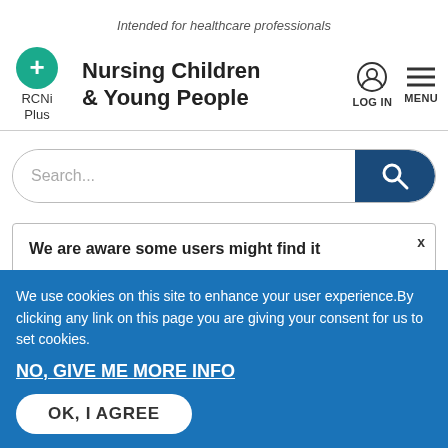Intended for healthcare professionals
Nursing Children & Young People
[Figure (logo): RCNi Plus logo with green circle and plus sign]
[Figure (screenshot): Search bar with magnifying glass button]
We are aware some users might find it
We use cookies on this site to enhance your user experience.By clicking any link on this page you are giving your consent for us to set cookies.
NO, GIVE ME MORE INFO
OK, I AGREE